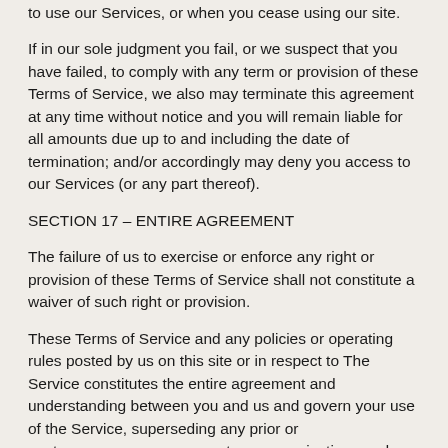to use our Services, or when you cease using our site.
If in our sole judgment you fail, or we suspect that you have failed, to comply with any term or provision of these Terms of Service, we also may terminate this agreement at any time without notice and you will remain liable for all amounts due up to and including the date of termination; and/or accordingly may deny you access to our Services (or any part thereof).
SECTION 17 – ENTIRE AGREEMENT
The failure of us to exercise or enforce any right or provision of these Terms of Service shall not constitute a waiver of such right or provision.
These Terms of Service and any policies or operating rules posted by us on this site or in respect to The Service constitutes the entire agreement and understanding between you and us and govern your use of the Service, superseding any prior or contemporaneous agreements, communications and proposals, whether oral or written, between you and us (including, but not limited to, any prior versions of the Terms of Service).
Any ambiguities in the interpretation of these Terms of Service shall not be construed against the drafting party.